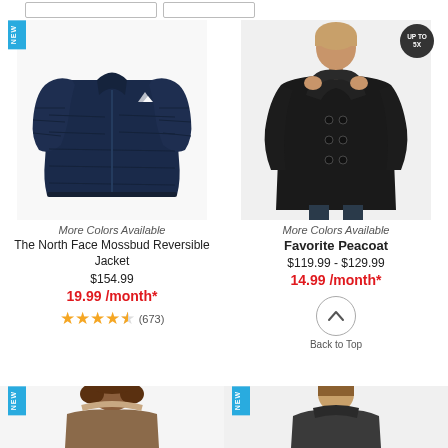[Figure (screenshot): Top filter/sort bar with two rectangular input boxes]
[Figure (photo): Navy blue The North Face Mossbud Reversible puffer jacket on white background, with NEW badge]
More Colors Available
The North Face Mossbud Reversible Jacket
$154.99
19.99 /month*
★★★★½ (673)
[Figure (photo): Woman wearing black Favorite Peacoat, with UP TO 5X badge]
More Colors Available
Favorite Peacoat
$119.99 - $129.99
14.99 /month*
Back to Top
[Figure (photo): Woman wearing fur-trimmed jacket, bottom partial, NEW badge]
[Figure (photo): Woman wearing jacket, bottom partial, NEW badge]